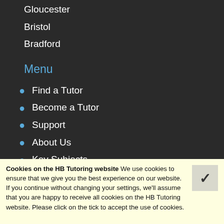Gloucester
Bristol
Bradford
Menu
Find a Tutor
Become a Tutor
Support
About Us
Key Subjects
Foundation
Cookies on the HB Tutoring website We use cookies to ensure that we give you the best experience on our website. If you continue without changing your settings, we'll assume that you are happy to receive all cookies on the HB Tutoring website. Please click on the tick to accept the use of cookies.